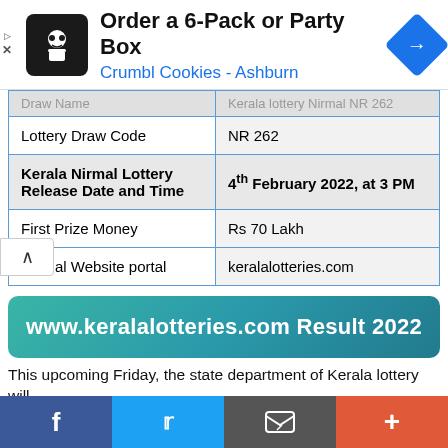[Figure (screenshot): Advertisement banner for Crumbl Cookies - Ashburn: Order a 6-Pack or Party Box]
| Draw Name | Kerala lottery Nirmal NR 262 |
| --- | --- |
| Lottery Draw Code | NR 262 |
| Kerala Nirmal Lottery Release Date and Time | 4th February 2022, at 3 PM |
| First Prize Money | Rs 70 Lakh |
| Official Website portal | keralalotteries.com |
[Figure (infographic): www.keralalotteries.com Result 2022 banner in teal/green gradient]
This upcoming Friday, the state department of Kerala lottery will